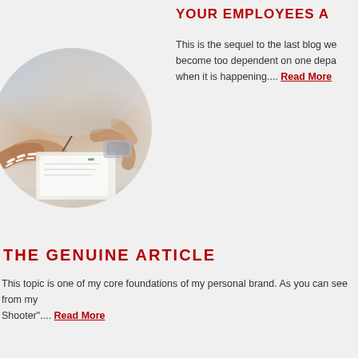YOUR EMPLOYEES A
[Figure (photo): People working together at a table with papers, drawing tools and hands visible, shown in a circular crop]
This is the sequel to the last blog we... become too dependent on one depa... when it is happening.... Read More
THE GENUINE ARTICLE
This topic is one of my core foundations of my personal brand. As you can see from my... Shooter".... Read More